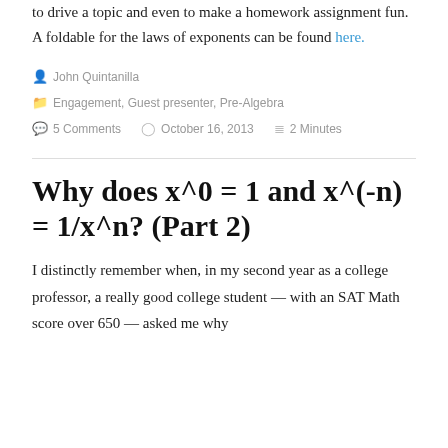to drive a topic and even to make a homework assignment fun. A foldable for the laws of exponents can be found here.
John Quintanilla
Engagement, Guest presenter, Pre-Algebra
5 Comments   October 16, 2013   2 Minutes
Why does x^0 = 1 and x^(-n) = 1/x^n? (Part 2)
I distinctly remember when, in my second year as a college professor, a really good college student — with an SAT Math score over 650 — asked me why